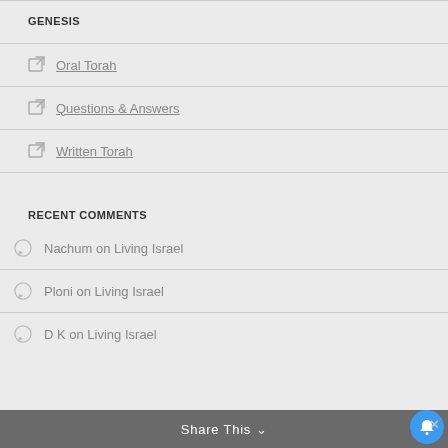GENESIS
Oral Torah
Questions & Answers
Written Torah
RECENT COMMENTS
Nachum on Living Israel
Ploni on Living Israel
D K on Living Israel
Share This